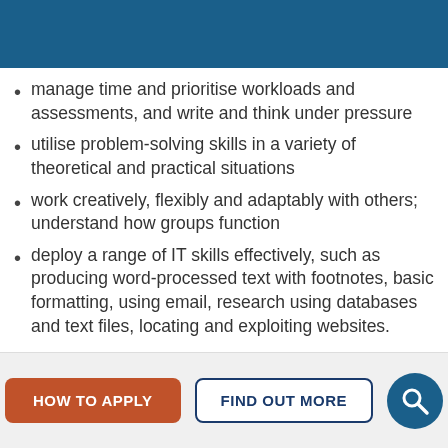manage time and prioritise workloads and assessments, and write and think under pressure
utilise problem-solving skills in a variety of theoretical and practical situations
work creatively, flexibly and adaptably with others; understand how groups function
deploy a range of IT skills effectively, such as producing word-processed text with footnotes, basic formatting, using email, research using databases and text files, locating and exploiting websites.
HOW TO APPLY | FIND OUT MORE